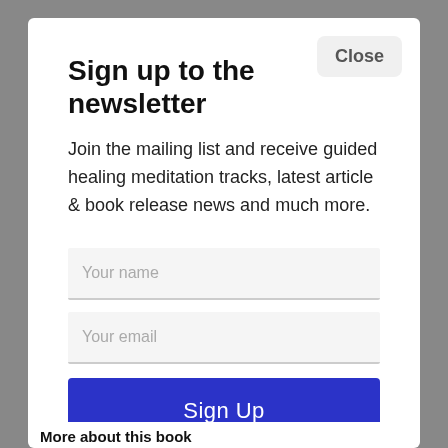Sign up to the newsletter
Join the mailing list and receive guided healing meditation tracks, latest article & book release news and much more.
Your name
Your email
Sign Up
Close
More about this book